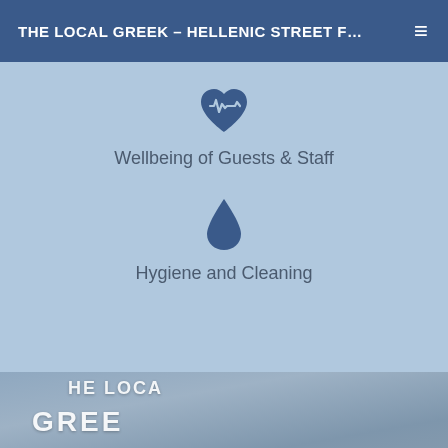THE LOCAL GREEK – HELLENIC STREET F…
Wellbeing of Guests & Staff
Hygiene and Cleaning
[Figure (photo): Person wearing a blue 'THE LOCAL GREEK' t-shirt, partially visible from torso, holding something at the bottom of the frame.]